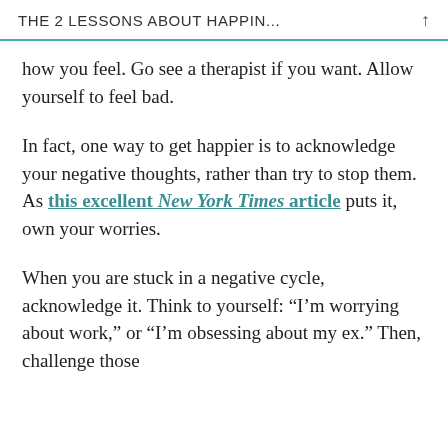THE 2 LESSONS ABOUT HAPPIN...
how you feel. Go see a therapist if you want. Allow yourself to feel bad.
In fact, one way to get happier is to acknowledge your negative thoughts, rather than try to stop them. As this excellent New York Times article puts it, own your worries.
When you are stuck in a negative cycle, acknowledge it. Think to yourself: “I’m worrying about work,” or “I’m obsessing about my ex.” Then, challenge those